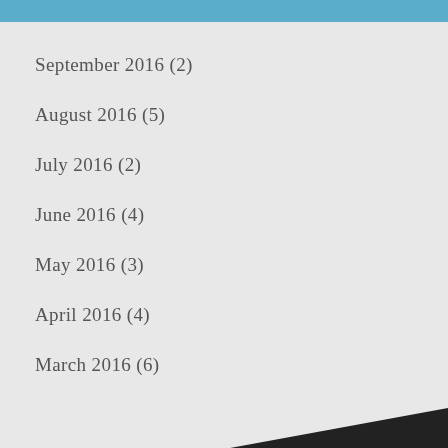September 2016 (2)
August 2016 (5)
July 2016 (2)
June 2016 (4)
May 2016 (3)
April 2016 (4)
March 2016 (6)